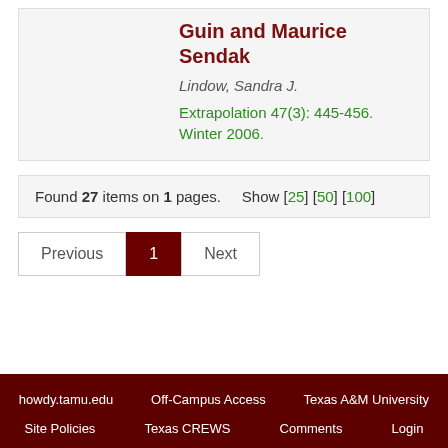Guin and Maurice Sendak
Lindow, Sandra J.
Extrapolation 47(3): 445-456. Winter 2006.
Found 27 items on 1 pages.   Show [25] [50] [100]
Previous  1  Next
howdy.tamu.edu   Off-Campus Access   Texas A&M University   Site Policies   Texas CREWS   Comments   Login